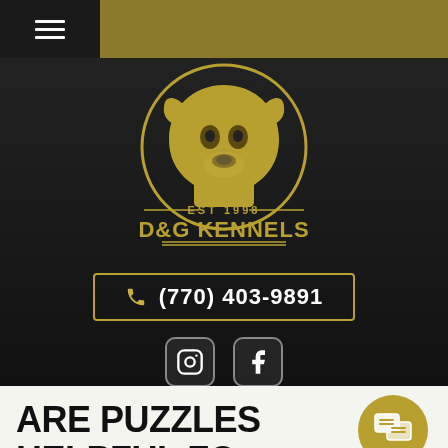[Figure (logo): D&G Kennels logo — gold dog head inside a circle, EST 1998, D&G KENNELS text, on dark background]
(770) 403-9891
[Figure (other): Instagram and Facebook social media icons]
ARE PUZZLES HELPFUL FOR CANINES?